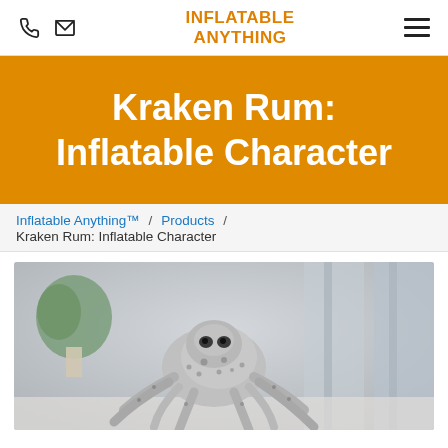Inflatable Anything — phone, mail icons, hamburger menu
Kraken Rum: Inflatable Character
Inflatable Anything™ / Products / Kraken Rum: Inflatable Character
[Figure (photo): Photo of an inflatable Kraken octopus character, grey with black spots and tentacles, displayed indoors with blurred background.]